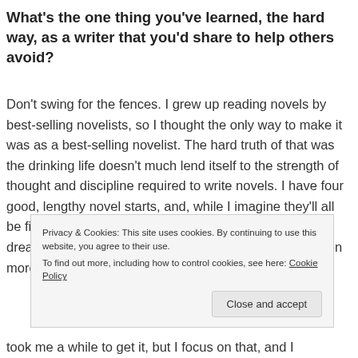What's the one thing you've learned, the hard way, as a writer that you'd share to help others avoid?
Don't swing for the fences. I grew up reading novels by best-selling novelists, so I thought the only way to make it was as a best-selling novelist. The hard truth of that was the drinking life doesn't much lend itself to the strength of thought and discipline required to write novels. I have four good, lengthy novel starts, and, while I imagine they'll all be finished in time, I spent of years chasing the pipe dreams within them when I should have been focusing on more practical projects. Also, you
Privacy & Cookies: This site uses cookies. By continuing to use this website, you agree to their use.
To find out more, including how to control cookies, see here: Cookie Policy
took me a while to get it, but I focus on that, and I